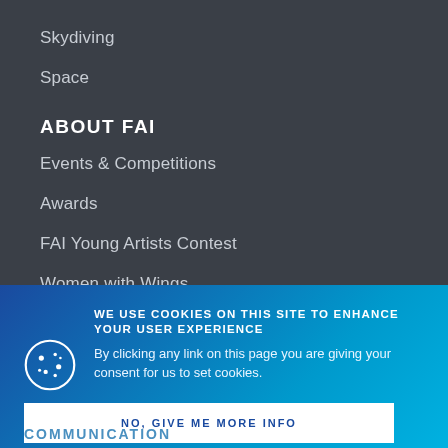Skydiving
Space
ABOUT FAI
Events & Competitions
Awards
FAI Young Artists Contest
Women with Wings
Education
WE USE COOKIES ON THIS SITE TO ENHANCE YOUR USER EXPERIENCE
By clicking any link on this page you are giving your consent for us to set cookies.
NO, GIVE ME MORE INFO
OK, I AGREE
DECLINE
COMMUNICATION